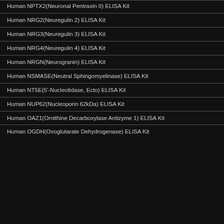Human NPTX2(Neuronal Pentraxin II) ELISA Kit
Human NRG2(Neuregulin 2) ELISA Kit
Human NRG3(Neuregulin 3) ELISA Kit
Human NRG4(Neuregulin 4) ELISA Kit
Human NRGN(Neurogranin) ELISA Kit
Human NSMASE(Neutral Sphingomyelinase) ELISA Kit
Human NT5E(5'-Nucleotidase, Ecto) ELISA Kit
Human NUP62(Nucleoporin 62kDa) ELISA Kit
Human OAZ1(Ornithine Decarboxylase Antizyme 1) ELISA Kit
Human OGDH(Oxoglutarate Dehydrogenase) ELISA Kit